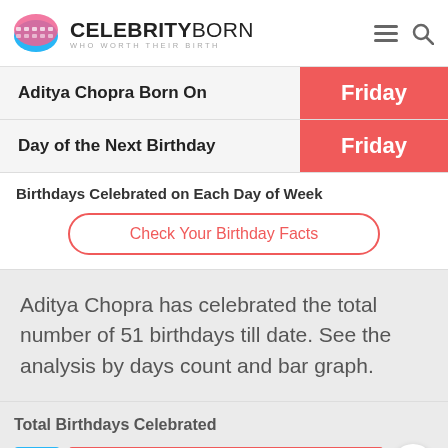CELEBRITYBORN WHO WORTH THEIR BIRTH
|  |  |
| --- | --- |
| Aditya Chopra Born On | Friday |
| Day of the Next Birthday | Friday |
Birthdays Celebrated on Each Day of Week
Check Your Birthday Facts
Aditya Chopra has celebrated the total number of 51 birthdays till date. See the analysis by days count and bar graph.
Total Birthdays Celebrated
[Figure (bar-chart): Total Birthdays Celebrated]